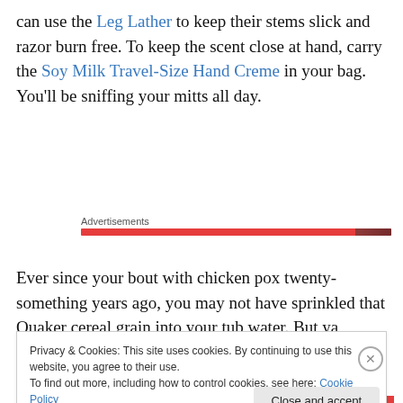can use the Leg Lather to keep their stems slick and razor burn free. To keep the scent close at hand, carry the Soy Milk Travel-Size Hand Creme in your bag. You'll be sniffing your mitts all day.
[Figure (other): Advertisements label with a red horizontal bar underneath, partially showing an advertisement image]
Ever since your bout with chicken pox twenty-something years ago, you may not have sprinkled that Quaker cereal grain into your tub water. But ya should. Those prone to
Privacy & Cookies: This site uses cookies. By continuing to use this website, you agree to their use.
To find out more, including how to control cookies, see here: Cookie Policy
Close and accept